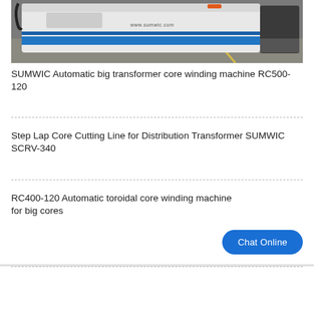[Figure (photo): Industrial machine (SUMWIC transformer core winding machine) with white and blue casing in a factory setting, with www.sumwic.com text visible on the machine]
SUMWIC Automatic big transformer core winding machine RC500-120
Step Lap Core Cutting Line for Distribution Transformer SUMWIC SCRV-340
RC400-120 Automatic toroidal core winding machine for big cores
Chat Online